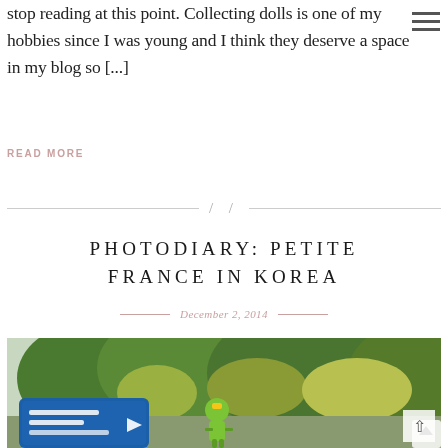stop reading at this point. Collecting dolls is one of my hobbies since I was young and I think they deserve a space in my blog so [...]
READ MORE
PHOTODIARY: PETITE FRANCE IN KOREA
December 2, 2014
[Figure (photo): Outdoor photo showing a blue sign and a green cartoon character figure against a background of green trees and bushes]